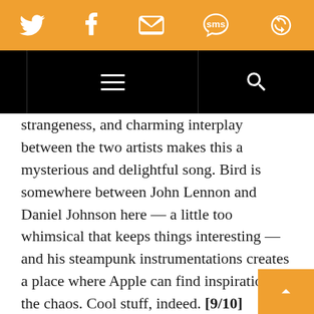[Figure (screenshot): Orange social sharing bar with Twitter, Facebook, email, SMS, and refresh/share icons in white on orange background]
[Figure (screenshot): Black navigation bar with hamburger menu icon centered and search icon on the right]
strangeness, and charming interplay between the two artists makes this a mysterious and delightful song. Bird is somewhere between John Lennon and Daniel Johnson here — a little too whimsical that keeps things interesting — and his steampunk instrumentations creates a place where Apple can find inspiration in the chaos. Cool stuff, indeed. [9/10]
Emmanuel Elone: Bird and Apple come through with a solid track, filled with different tempos and